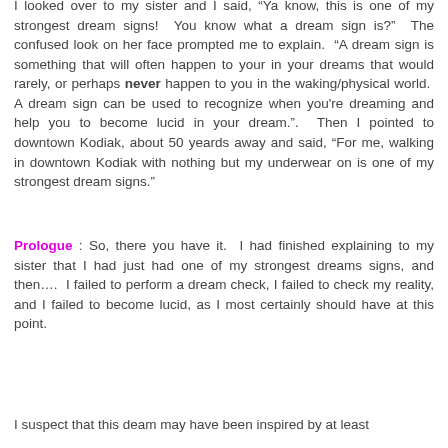I looked over to my sister and I said, “Ya know, this is one of my strongest dream signs!  You know what a dream sign is?”  The confused look on her face prompted me to explain.  “A dream sign is something that will often happen to your in your dreams that would rarely, or perhaps never happen to you in the waking/physical world.  A dream sign can be used to recognize when you're dreaming and help you to become lucid in your dream.".  Then I pointed to downtown Kodiak, about 50 yeards away and said, “For me, walking in downtown Kodiak with nothing but my underwear on is one of my strongest dream signs.”
Prologue : So, there you have it.  I had finished explaining to my sister that I had just had one of my strongest dreams signs, and then….  I failed to perform a dream check, I failed to check my reality, and I failed to become lucid, as I most certainly should have at this point.
I suspect that this deam may have been inspired by at least